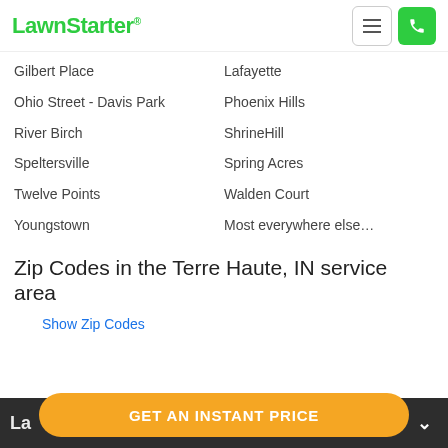LawnStarter
Gilbert Place
Lafayette
Ohio Street - Davis Park
Phoenix Hills
River Birch
ShrineHill
Speltersville
Spring Acres
Twelve Points
Walden Court
Youngstown
Most everywhere else…
Zip Codes in the Terre Haute, IN service area
Show Zip Codes
La  GET AN INSTANT PRICE